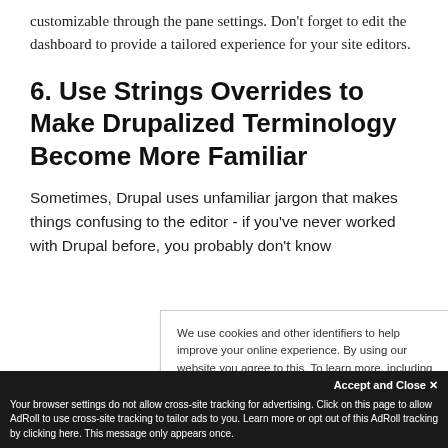customizable through the pane settings. Don't forget to edit the dashboard to provide a tailored experience for your site editors.
6. Use Strings Overrides to Make Drupalized Terminology Become More Familiar
Sometimes, Drupal uses unfamiliar jargon that makes things confusing to the editor - if you've never worked with Drupal before, you probably don't know
We use cookies and other identifiers to help improve your online experience. By using our website you agree to this. To learn more, including how to change your settings, see our Privacy Policy.
Accept and Close ✕ Your browser settings do not allow cross-site tracking for advertising. Click on this page to allow AdRoll to use cross-site tracking to tailor ads to you. Learn more or opt out of this AdRoll tracking by clicking here. This message only appears once.